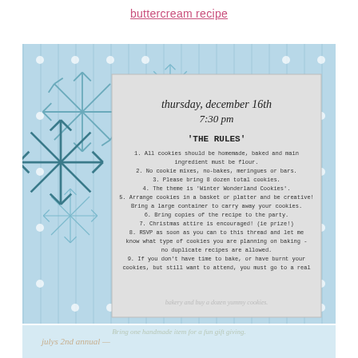buttercream recipe
[Figure (illustration): Winter holiday cookie exchange invitation card with light blue striped background, decorative snowflakes, white polka dots, and an inner gray card with event details and rules]
thursday, december 16th
7:30 pm
'THE RULES'
1. All cookies should be homemade, baked and main ingredient must be flour.
2. No cookie mixes, no-bakes, meringues or bars.
3. Please bring 8 dozen total cookies.
4. The theme is 'Winter Wonderland Cookies'.
5. Arrange cookies in a basket or platter and be creative! Bring a large container to carry away your cookies.
6. Bring copies of the recipe to the party.
7. Christmas attire is encouraged! (ie prize!)
8. RSVP as soon as you can to this thread and let me know what type of cookies you are planning on baking - no duplicate recipes are allowed.
9. If you don't have time to bake, or have burnt your cookies, but still want to attend, you must go to a real
bakery and buy a dozen yummy cookies.
Bring one handmade item for a fun giftgiving.
julys 2nd annual —